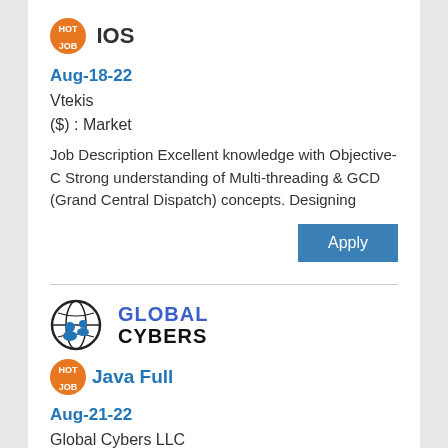IOS
Aug-18-22
Vtekis
($) : Market
Job Description Excellent knowledge with Objective-C Strong understanding of Multi-threading & GCD (Grand Central Dispatch) concepts. Designing
[Figure (logo): Global Cybers company logo with globe icon]
Java Full
Aug-21-22
Global Cybers LLC
($) : Market